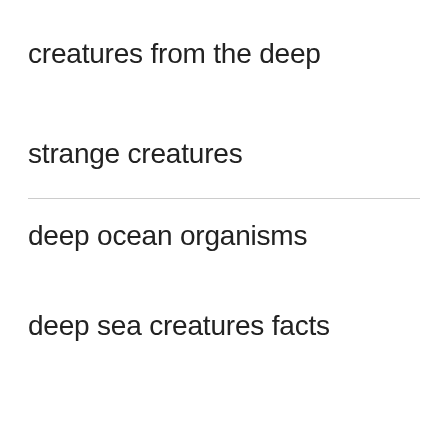creatures from the deep
strange creatures
deep ocean organisms
deep sea creatures facts